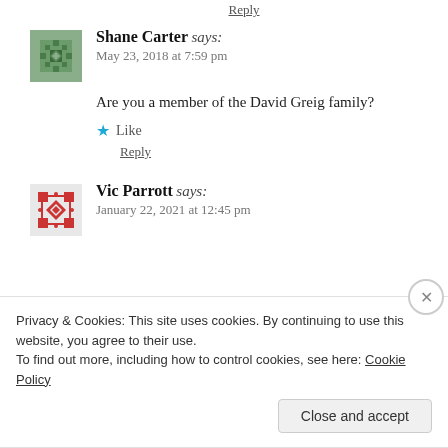Reply
Shane Carter says: May 23, 2018 at 7:59 pm
Are you a member of the David Greig family?
Like
Reply
Vic Parrott says: January 22, 2021 at 12:45 pm
Privacy & Cookies: This site uses cookies. By continuing to use this website, you agree to their use. To find out more, including how to control cookies, see here: Cookie Policy
Close and accept